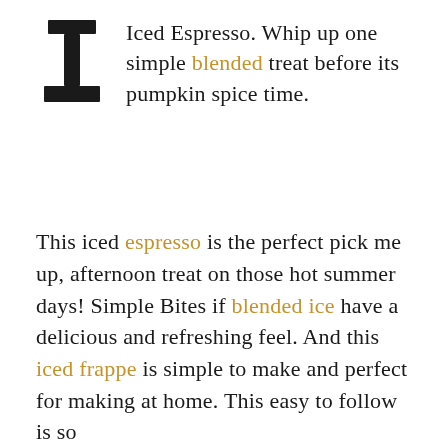Iced Espresso. Whip up one simple blended treat before its pumpkin spice time.
This iced espresso is the perfect pick me up, afternoon treat on those hot summer days! Simple Bites if blended ice have a delicious and refreshing feel. And this iced frappe is simple to make and perfect for making at home. This easy to follow is so